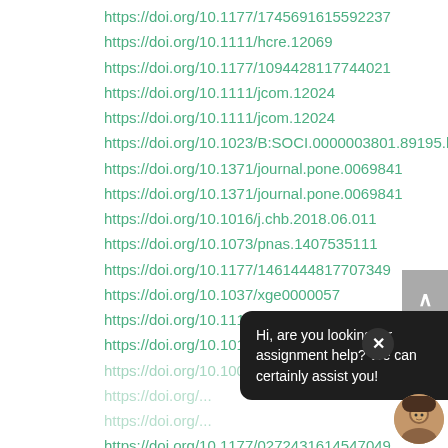https://doi.org/10.1177/17456916155922​37
https://doi.org/10.1111/hcre.12069
https://doi.org/10.1177/10944281177440​21
https://doi.org/10.1111/jcom.12024
https://doi.org/10.1111/jcom.12024
https://doi.org/10.1023/B:SOCI.0000003801.89195.bc
https://doi.org/10.1371/journal.pone.0069841
https://doi.org/10.1371/journal.pone.0069841
https://doi.org/10.1016/j.chb.2018.06.011
https://doi.org/10.1073/pnas.1407535111
https://doi.org/10.1177/1461444817707349
https://doi.org/10.1037/xge0000057
https://doi.org/10.1111/sipr.12033
https://doi.org/10.1016/j.adolescence.2016.12.002
https://doi.org/10.1000/reh.2006.8.584 (partial)
https://doi.org/... (partial, obscured)
https://doi.org/... (partial, obscured)
https://doi.org/10.1177/0272431614547049
https://doi.org/10.1007/s10802-011-9509-3
[Figure (screenshot): Chat popup overlay with dark background showing message: 'Hi, are you looking for assignment help? We can certainly assist you!' with a close X button and an avatar photo of a person.]